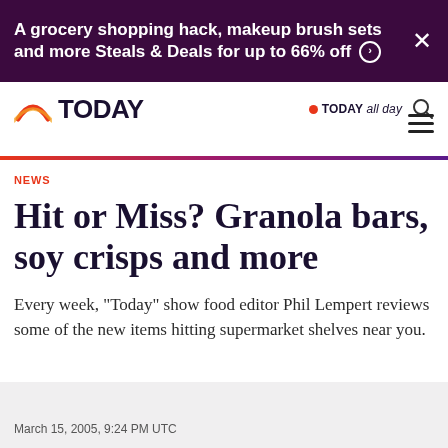A grocery shopping hack, makeup brush sets and more Steals & Deals for up to 66% off ›
[Figure (logo): TODAY show logo with sunrise arc icon and TODAY all day secondary logo with red dot]
NEWS
Hit or Miss? Granola bars, soy crisps and more
Every week, "Today" show food editor Phil Lempert reviews some of the new items hitting supermarket shelves near you.
March 15, 2005, 9:24 PM UTC